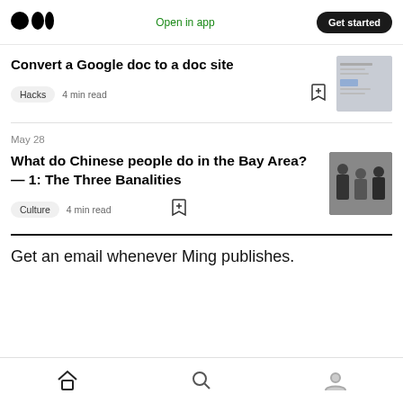Medium logo | Open in app | Get started
Convert a Google doc to a doc site
Hacks  4 min read
May 28
What do Chinese people do in the Bay Area? — 1: The Three Banalities
Culture  4 min read
Get an email whenever Ming publishes.
Home | Search | Profile